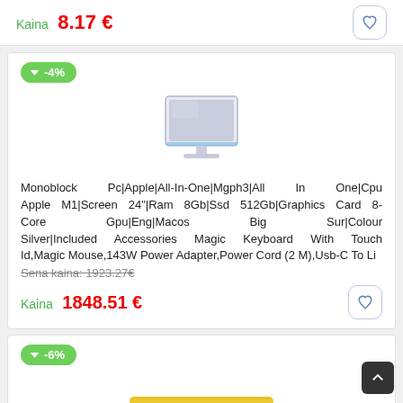Kaina  8.17 €
-4%
[Figure (photo): Apple iMac all-in-one desktop computer, silver color]
Monoblock Pc|Apple|All-In-One|Mgph3|All In One|Cpu Apple M1|Screen 24"|Ram 8Gb|Ssd 512Gb|Graphics Card 8-Core Gpu|Eng|Macos Big Sur|Colour Silver|Included Accessories Magic Keyboard With Touch Id,Magic Mouse,143W Power Adapter,Power Cord (2 M),Usb-C To Li
Sena kaina: 1923.27€
Kaina  1848.51 €
-6%